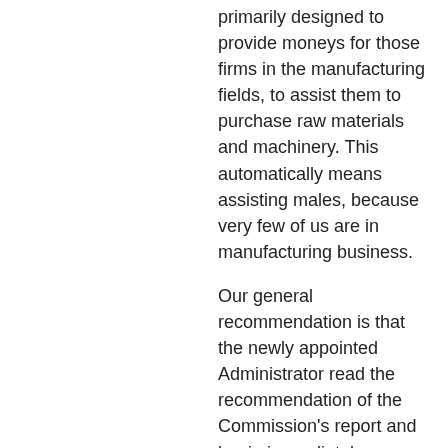primarily designed to provide moneys for those firms in the manufacturing fields, to assist them to purchase raw materials and machinery. This automatically means assisting males, because very few of us are in manufacturing business.
Our general recommendation is that the newly appointed Administrator read the recommendation of the Commission's report and begin immediately implementing them. Whomever it is, they must have a total commitment to assist minority female-owned businesses, and become familiar with their potential from experience with them and not on the generalization that they are inferior.
The staffing of every department of SBA all over the country should have some black females in a policymaking position. This means regional offices as well.
It is our recommendation that a black female, who has had business experience, head a women's division to deal primarily in the area